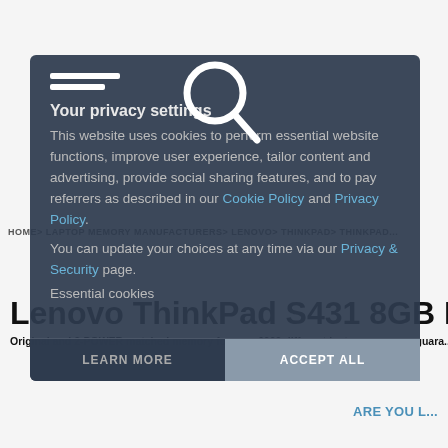[Figure (screenshot): Screenshot of a website showing a privacy settings modal overlay on top of a laptop memory product page for Lenovo ThinkPad S431 8GB Memory. The modal has a dark blue-grey background with a search magnifier icon overlaid. Breadcrumb navigation is visible: HOME > LAPTOP MEMORY MANUFACTURERS > LENOVO > THINKPAD > THINKPAD... The modal contains privacy settings text, cookie policy links, and LEARN MORE / ACCEPT ALL buttons.]
Your privacy settings
This website uses cookies to perform essential website functions, improve user experience, tailor content and advertising, provide social sharing features, and to pay referrers as described in our Cookie Policy and Privacy Policy.
You can update your choices at any time via our Privacy & Security page.
Essential cookies
HOME > LAPTOP MEMORY MANUFACTURERS > LENOVO > THINKPAD > THINKPAD...
Lenovo ThinkPad S431 8GB M
Original and 2-POWER matched memory for over 6000 different lapto... guara...
LEARN MORE
ACCEPT ALL
ARE YOU L...